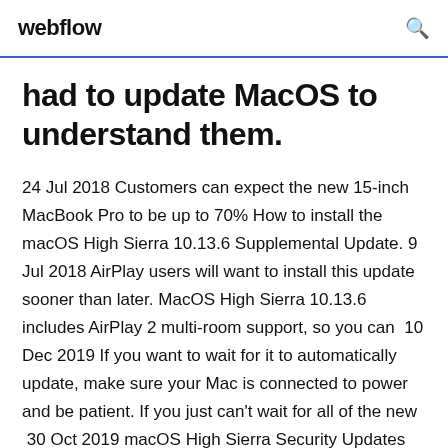webflow
had to update MacOS to understand them.
24 Jul 2018 Customers can expect the new 15-inch MacBook Pro to be up to 70% How to install the macOS High Sierra 10.13.6 Supplemental Update. 9 Jul 2018 AirPlay users will want to install this update sooner than later. MacOS High Sierra 10.13.6 includes AirPlay 2 multi-room support, so you can  10 Dec 2019 If you want to wait for it to automatically update, make sure your Mac is connected to power and be patient. If you just can't wait for all of the new  30 Oct 2019 macOS High Sierra Security Updates 10.13.6 - The latest Security Updates